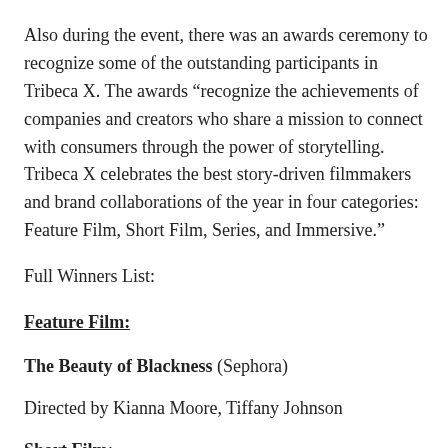Also during the event, there was an awards ceremony to recognize some of the outstanding participants in Tribeca X. The awards “recognize the achievements of companies and creators who share a mission to connect with consumers through the power of storytelling. Tribeca X celebrates the best story-driven filmmakers and brand collaborations of the year in four categories: Feature Film, Short Film, Series, and Immersive.”
Full Winners List:
Feature Film:
The Beauty of Blackness (Sephora)
Directed by Kianna Moore, Tiffany Johnson
Short Film: